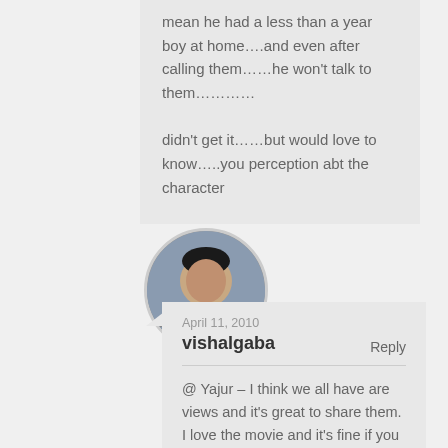mean he had a less than a year boy at home….and even after calling them……he won't talk to them…………
didn't get it……but would love to know…..you perception abt the character
[Figure (photo): Circular avatar photo of a man sitting, wearing dark clothing]
April 11, 2010
vishalgaba
Reply
@ Yajur – I think we all have are views and it's great to share them. I love the movie and it's fine if you